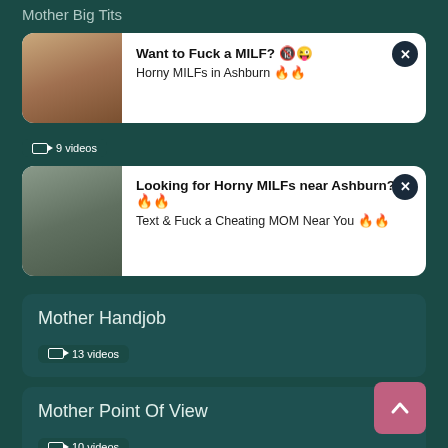Mother Big Tits
[Figure (photo): Ad card with woman photo - Want to Fuck a MILF? Horny MILFs in Ashburn]
9 videos
[Figure (photo): Ad card with woman photo - Looking for Horny MILFs near Ashburn? Text & Fuck a Cheating MOM Near You]
Mother Handjob
13 videos
Mother Point Of View
10 videos